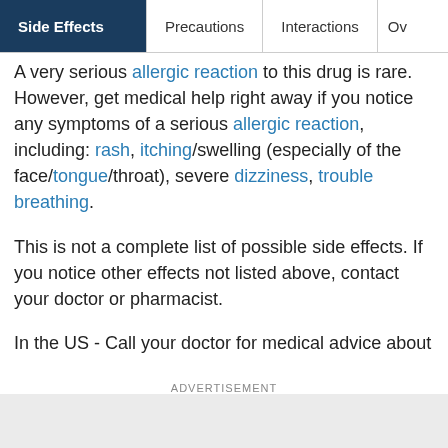Side Effects | Precautions | Interactions | Ov...
A very serious allergic reaction to this drug is rare. However, get medical help right away if you notice any symptoms of a serious allergic reaction, including: rash, itching/swelling (especially of the face/tongue/throat), severe dizziness, trouble breathing.
This is not a complete list of possible side effects. If you notice other effects not listed above, contact your doctor or pharmacist.
In the US - Call your doctor for medical advice about
ADVERTISEMENT